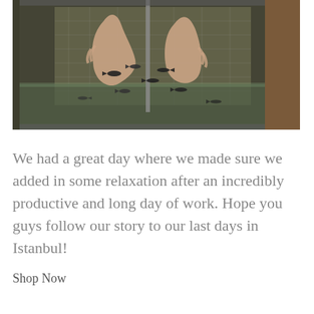[Figure (photo): A glass tank filled with water showing two hands submerged with small fish (doctor fish) nibbling on fingers. The background shows various equipment and netting in an indoor spa-like setting.]
We had a great day where we made sure we added in some relaxation after an incredibly productive and long day of work. Hope you guys follow our story to our last days in Istanbul!
Shop Now